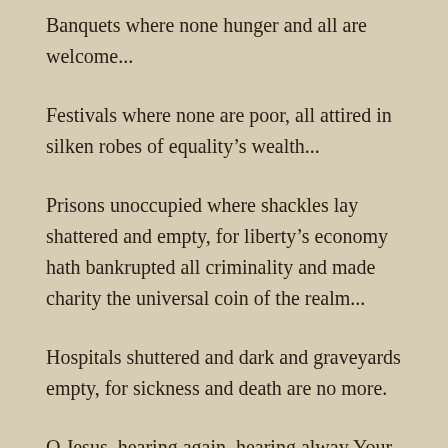Banquets where none hunger and all are welcome...
Festivals where none are poor, all attired in silken robes of equality’s wealth...
Prisons unoccupied where shackles lay shattered and empty, for liberty’s economy hath bankrupted all criminality and made charity the universal coin of the realm...
Hospitals shuttered and dark and graveyards empty, for sickness and death are no more.
O Jesus, hearing again, hearing alway Your call,